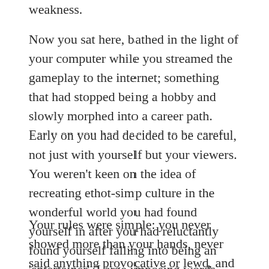weakness.
Now you sat here, bathed in the light of your computer while you streamed the gameplay to the internet; something that had stopped being a hobby and slowly morphed into a career path. Early on you had decided to be careful, not just with yourself but your viewers. You weren't keen on the idea of recreating ethot-simp culture in the wonderful world you had found yourself in after you had reluctantly found yourself falling into being an 'entertainer'. Large imposing words flickered across the screen indicating that the game was paused.
Your rules were simple: you never showed more than your hands, never said anything provocative or lewd, and made sure inherently to always have a generally